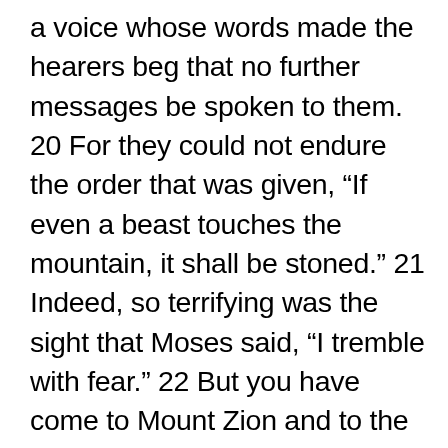a voice whose words made the hearers beg that no further messages be spoken to them. 20 For they could not endure the order that was given, “If even a beast touches the mountain, it shall be stoned.” 21 Indeed, so terrifying was the sight that Moses said, “I tremble with fear.” 22 But you have come to Mount Zion and to the city of the living God, the heavenly Jerusalem, and to innumerable angels in festal gathering, 23 and to the assembly of the firstborn who are enrolled in